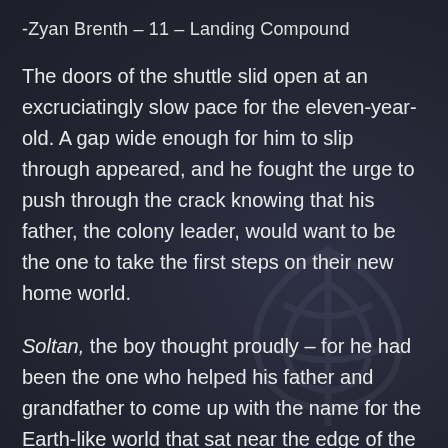-Zyan Brenth – 11 – Landing Compound
The doors of the shuttle slid open at an excruciatingly slow pace for the eleven-year-old. A gap wide enough for him to slip through appeared, and he fought the urge to push through the crack knowing that his father, the colony leader, would want to be the one to take the first steps on their new home world.
Soltan, the boy thought proudly – for he had been the one who helped his father and grandfather to come up with the name for the Earth-like world that sat near the edge of the